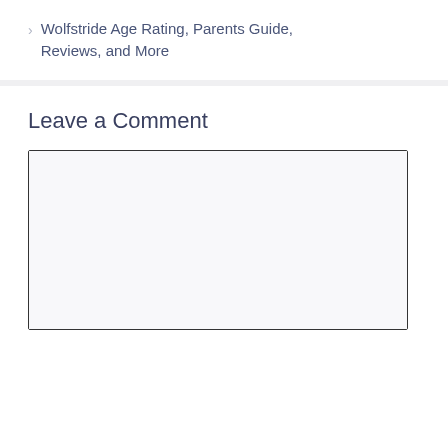Wolfstride Age Rating, Parents Guide, Reviews, and More
Leave a Comment